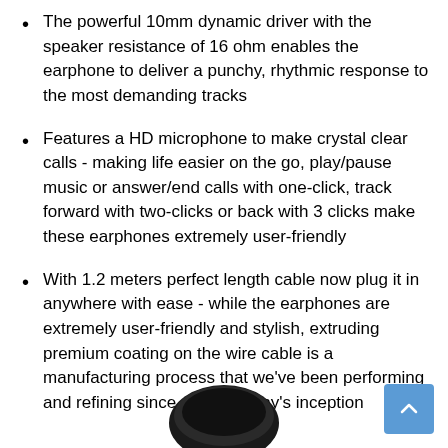The powerful 10mm dynamic driver with the speaker resistance of 16 ohm enables the earphone to deliver a punchy, rhythmic response to the most demanding tracks
Features a HD microphone to make crystal clear calls - making life easier on the go, play/pause music or answer/end calls with one-click, track forward with two-clicks or back with 3 clicks make these earphones extremely user-friendly
With 1.2 meters perfect length cable now plug it in anywhere with ease - while the earphones are extremely user-friendly and stylish, extruding premium coating on the wire cable is a manufacturing process that we've been performing and refining since our company's inception
[Figure (photo): Bottom portion of black earphones/headphones visible at the bottom center of the page]